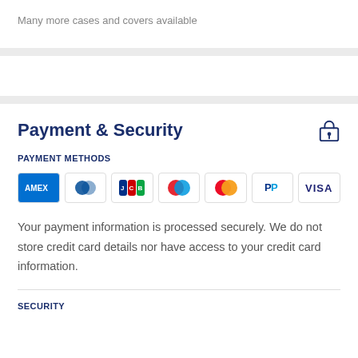Many more cases and covers available
Payment & Security
PAYMENT METHODS
[Figure (other): Payment method icons: AMEX, Diners Club, JCB, Maestro, Mastercard, PayPal, VISA]
Your payment information is processed securely. We do not store credit card details nor have access to your credit card information.
SECURITY